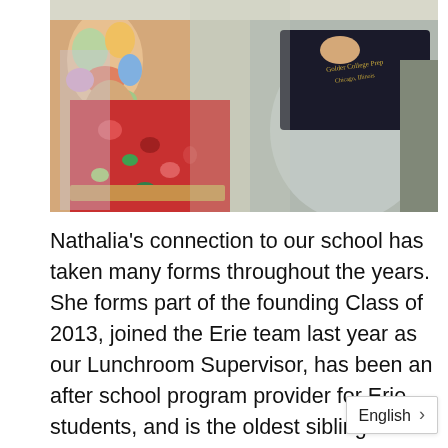[Figure (photo): Two women standing outdoors. One has a colorful floral tattoo sleeve visible and is wearing a red floral dress with a tan belt. The other is wearing a grey top and holding a dark diploma folder reading 'Golder College Prep, Chicago, Illinois'.]
Nathalia's connection to our school has taken many forms throughout the years. She forms part of the founding Class of 2013, joined the Erie team last year as our Lunchroom Supervisor, has been an after school program provider for Erie students, and is the oldest sibling of one of our beloved families. After graduating from Nathalia attended Golder College Prep, and is